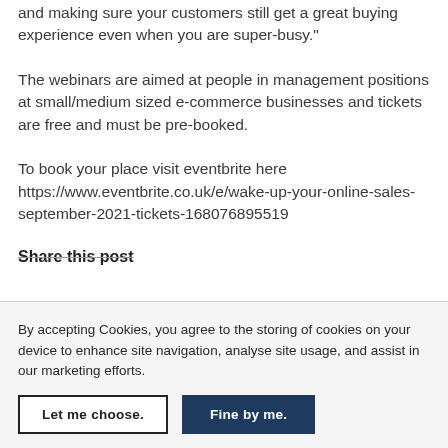and making sure your customers still get a great buying experience even when you are super-busy."
The webinars are aimed at people in management positions at small/medium sized e-commerce businesses and tickets are free and must be pre-booked.
To book your place visit eventbrite here https://www.eventbrite.co.uk/e/wake-up-your-online-sales-september-2021-tickets-168076895519
Share this post
By accepting Cookies, you agree to the storing of cookies on your device to enhance site navigation, analyse site usage, and assist in our marketing efforts.